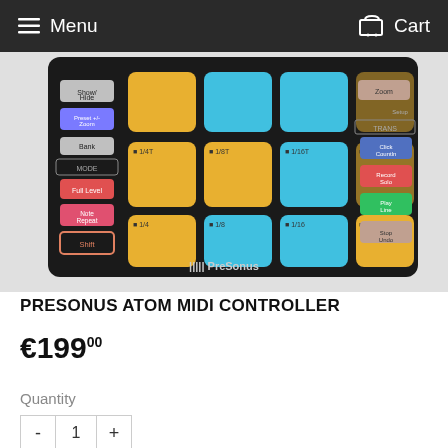Menu  Cart
[Figure (photo): PreSonus ATOM MIDI Controller shown from above — a black pad controller with 16 large velocity-sensitive pads in cyan/blue and amber/yellow colors, smaller control buttons on the left (Show/Hide, Preset +/-, Bank, MODE, Full Level, Note Repeat, Shift) and right side (Zoom, Setup, TRANS, Click/Countln, Record Solo, Play Line, Stop Undo), pad labels showing 1/4, 1/8, 1/16, 1/32 and 1/4T, 1/8T, 1/16T, 1/32T, PreSonus logo at bottom center]
PRESONUS ATOM MIDI CONTROLLER
€199.00
Quantity
- 1 +